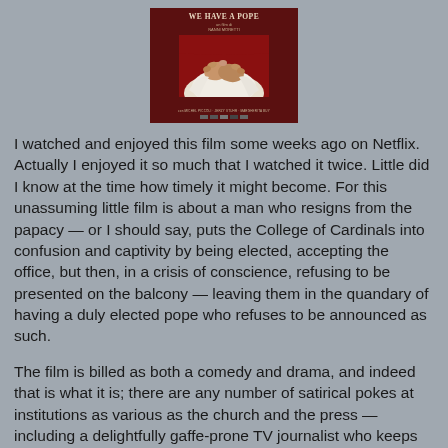[Figure (photo): Movie poster for 'We Have a Pope' showing clasped hands in white papal robes against a dark red background, with film title at top and credits at bottom.]
I watched and enjoyed this film some weeks ago on Netflix. Actually I enjoyed it so much that I watched it twice. Little did I know at the time how timely it might become. For this unassuming little film is about a man who resigns from the papacy — or I should say, puts the College of Cardinals into confusion and captivity by being elected, accepting the office, but then, in a crisis of conscience, refusing to be presented on the balcony — leaving them in the quandary of having a duly elected pope who refuses to be announced as such.
The film is billed as both a comedy and drama, and indeed that is what it is; there are any number of satirical pokes at institutions as various as the church and the press — including a delightfully gaffe-prone TV journalist who keeps making announcements that he must immediately correct.